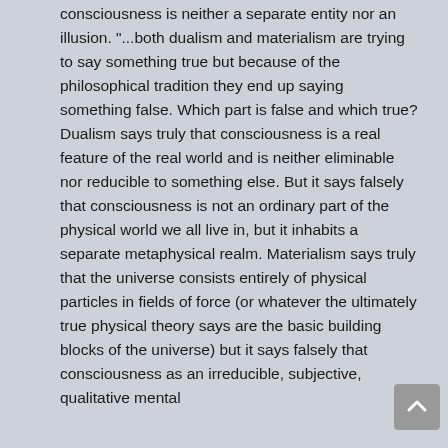consciousness is neither a separate entity nor an illusion. "...both dualism and materialism are trying to say something true but because of the philosophical tradition they end up saying something false. Which part is false and which true? Dualism says truly that consciousness is a real feature of the real world and is neither eliminable nor reducible to something else. But it says falsely that consciousness is not an ordinary part of the physical world we all live in, but it inhabits a separate metaphysical realm. Materialism says truly that the universe consists entirely of physical particles in fields of force (or whatever the ultimately true physical theory says are the basic building blocks of the universe) but it says falsely that consciousness as an irreducible, subjective, qualitative mental